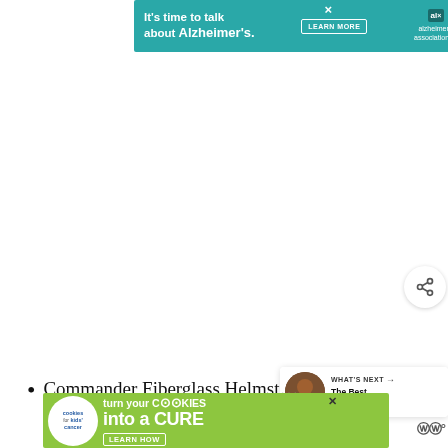[Figure (infographic): Teal banner advertisement for Alzheimer's Association with text 'It's time to talk about Alzheimer's.' and a LEARN MORE button, with organization logo on right]
[Figure (infographic): Heart/like button icon (dark navy circle with white heart) showing count 117, and a share button below it]
[Figure (infographic): WHAT'S NEXT panel with thumbnail image and text 'The Best Pontoon Bo...']
Commander Fiberglass Helmst...
Full Windshield
[Figure (infographic): Green advertisement banner for 'cookies for kids cancer' with text 'turn your COOKIES into a CURE LEARN HOW']